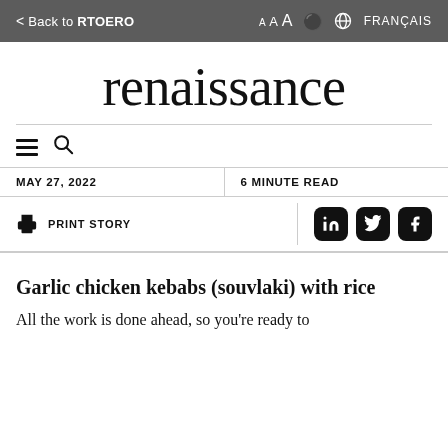< Back to RTOERO   A A A  🌐 FRANÇAIS
renaissance
MAY 27, 2022   6 MINUTE READ
PRINT STORY
Garlic chicken kebabs (souvlaki) with rice
All the work is done ahead, so you're ready to